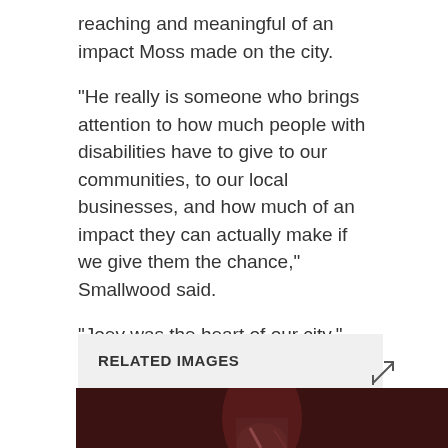reaching and meaningful of an impact Moss made on the city.
"He really is someone who brings attention to how much people with disabilities have to give to our communities, to our local businesses, and how much of an impact they can actually make if we give them the chance," Smallwood said.
"Joey was the heart of our city."
With files from CTV News Edmonton's Jessica Robb
RELATED IMAGES
[Figure (photo): Dark photo strip showing partial figure, appears to be a person]